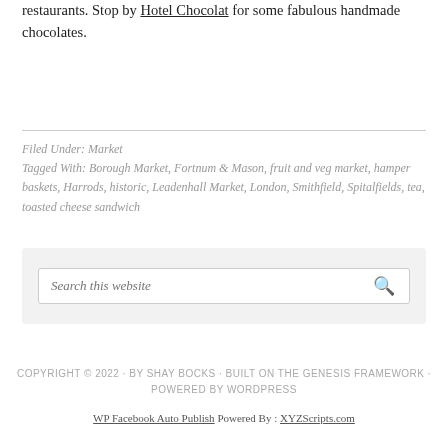restaurants. Stop by Hotel Chocolat for some fabulous handmade chocolates.
Filed Under: Market
Tagged With: Borough Market, Fortnum & Mason, fruit and veg market, hamper baskets, Harrods, historic, Leadenhall Market, London, Smithfield, Spitalfields, tea, toasted cheese sandwich
Search this website
COPYRIGHT © 2022 · BY SHAY BOCKS · BUILT ON THE GENESIS FRAMEWORK · POWERED BY WORDPRESS
WP Facebook Auto Publish Powered By : XYZScripts.com